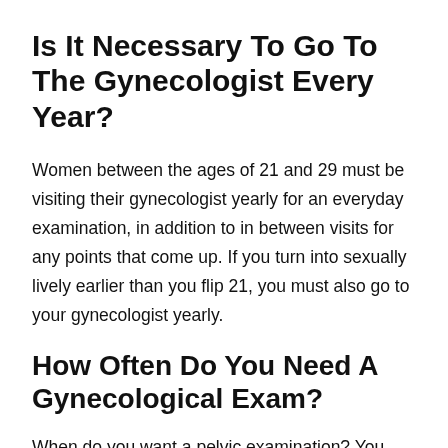Is It Necessary To Go To The Gynecologist Every Year?
Women between the ages of 21 and 29 must be visiting their gynecologist yearly for an everyday examination, in addition to in between visits for any points that come up. If you turn into sexually lively earlier than you flip 21, you must also go to your gynecologist yearly.
How Often Do You Need A Gynecological Exam?
When do you want a pelvic examination? You want it for that Pap each three to 5 years. You want it